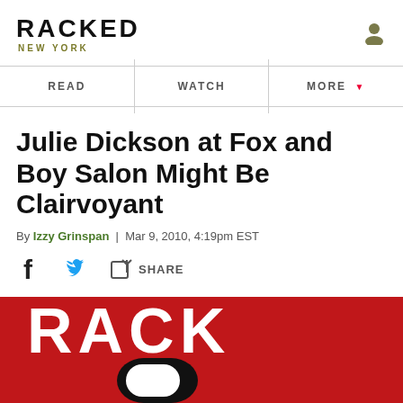RACKED NEW YORK
READ | WATCH | MORE
Julie Dickson at Fox and Boy Salon Might Be Clairvoyant
By Izzy Grinspan | Mar 9, 2010, 4:19pm EST
[Figure (other): Social share icons: Facebook, Twitter, and a generic share button with label SHARE]
[Figure (photo): Partial image showing red background with large white text 'RACK' and a bold black letter D or rounded shape below it — appears to be the Racked logo cropped]